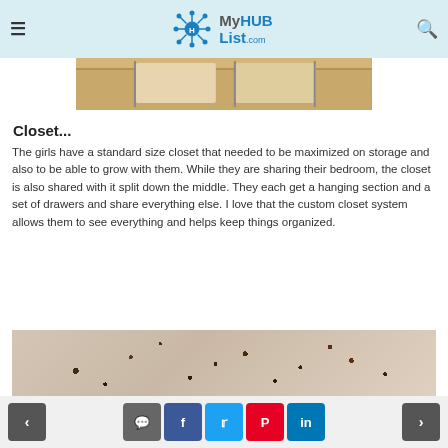MyHUBList.com
[Figure (photo): Partial view of a closet or shelving unit with wooden elements visible]
Closet...
The girls have a standard size closet that needed to be maximized on storage and also to be able to grow with them. While they are sharing their bedroom, the closet is also shared with it split down the middle. They each get a hanging section and a set of drawers and share everything else. I love that the custom closet system allows them to see everything and helps keep things organized.
[Figure (photo): Spotted/leopard print fabric or textile, beige and brown tones]
Navigation and social share buttons: previous, comment, Facebook, Twitter, Pinterest, LinkedIn, next